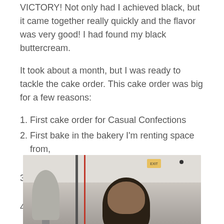VICTORY! Not only had I achieved black, but it came together really quickly and the flavor was very good! I had found my black buttercream.
It took about a month, but I was ready to tackle the cake order. This cake order was big for a few reasons:
First cake order for Casual Confections
First bake in the bakery I'm renting space from, Baked Well
First cake where I was trying to match a design
Only my second decorated cake (you may remember the uterus babies as the first)
[Figure (photo): A person wearing a black hat/beanie in a bakery kitchen, with stainless steel equipment visible in the background including a mixer on the left side.]